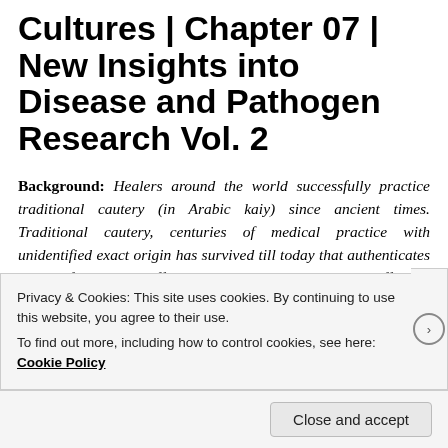Cultures | Chapter 07 | New Insights into Disease and Pathogen Research Vol. 2
Background: Healers around the world successfully practice traditional cautery (in Arabic kaiy) since ancient times. Traditional cautery, centuries of medical practice with unidentified exact origin has survived till today that authenticates its significance and effectiveness in mitigating human sufferings and
Privacy & Cookies: This site uses cookies. By continuing to use this website, you agree to their use.
To find out more, including how to control cookies, see here: Cookie Policy
Close and accept